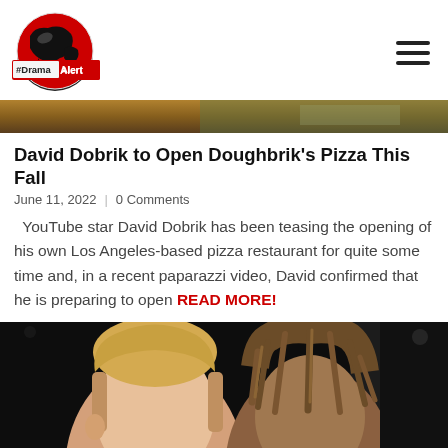[Figure (logo): DramaAlert logo: red globe with #Drama Alert text banner]
[Figure (photo): Top strip image - partially visible photo with warm brown tones]
David Dobrik to Open Doughbrik's Pizza This Fall
June 11, 2022 | 0 Comments
YouTube star David Dobrik has been teasing the opening of his own Los Angeles-based pizza restaurant for quite some time and, in a recent paparazzi video, David confirmed that he is preparing to open READ MORE!
[Figure (photo): Photo of two people close together, one with blonde short hair and one with dreadlocks, appears to be from a boxing event]